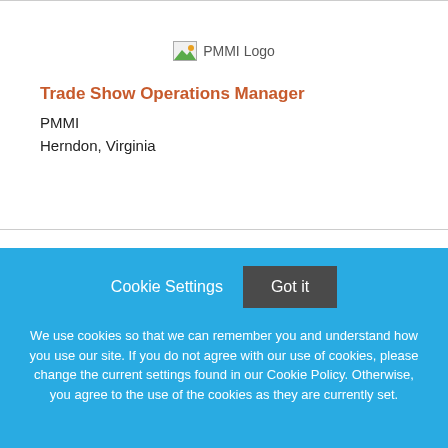[Figure (logo): PMMI Logo placeholder image]
Trade Show Operations Manager
PMMI
Herndon, Virginia
Cookie Settings  Got it
We use cookies so that we can remember you and understand how you use our site. If you do not agree with our use of cookies, please change the current settings found in our Cookie Policy. Otherwise, you agree to the use of the cookies as they are currently set.